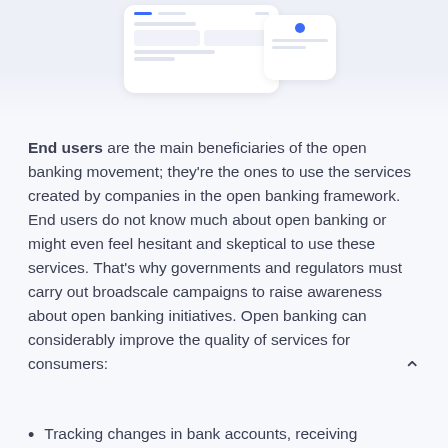[Figure (screenshot): Partial screenshot of two overlapping UI cards/screens showing a banking or financial app interface, with light blue/white rounded cards on a light grey-blue background.]
End users are the main beneficiaries of the open banking movement; they're the ones to use the services created by companies in the open banking framework. End users do not know much about open banking or might even feel hesitant and skeptical to use these services. That's why governments and regulators must carry out broadscale campaigns to raise awareness about open banking initiatives. Open banking can considerably improve the quality of services for consumers:
Tracking changes in bank accounts, receiving